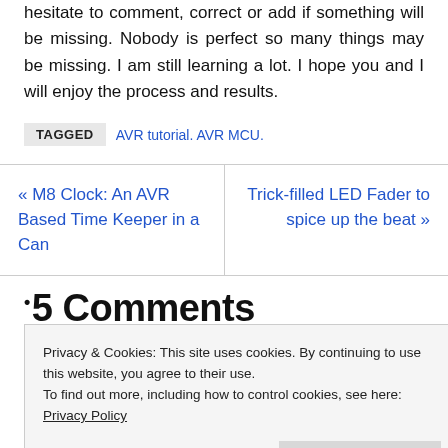hesitate to comment, correct or add if something will be missing. Nobody is perfect so many things may be missing. I am still learning a lot. I hope you and I will enjoy the process and results.
TAGGED   AVR tutorial. AVR MCU.
« M8 Clock: An AVR Based Time Keeper in a Can
Trick-filled LED Fader to spice up the beat »
5 Comments
Privacy & Cookies: This site uses cookies. By continuing to use this website, you agree to their use.
To find out more, including how to control cookies, see here: Privacy Policy
Close and accept
Exciting.